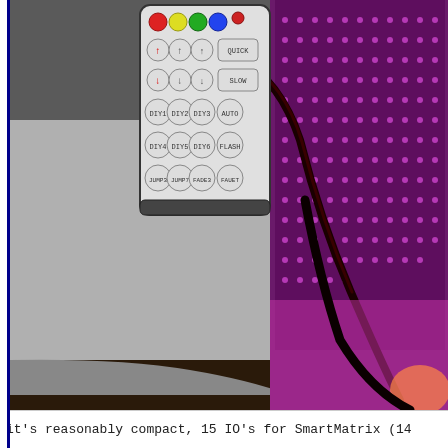[Figure (photo): Photo of an RGB LED remote control placed on a gray surface/board, with a black cable running from it toward a purple/pink LED matrix panel visible on the right side. The remote has colorful buttons at top and multiple rows of round buttons labeled DIY1-DIY6, JUMP3, JUMP7, FADE3, FAUET, AUTO, FLASH, SLOW, QUICK, etc. The LED matrix panel glows purple/pink in the background on the right.]
it's reasonably compact, 15 IO's for SmartMatrix (14